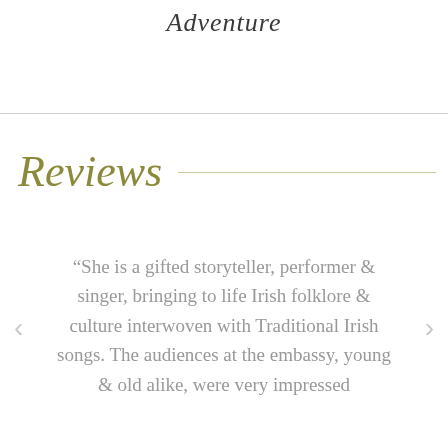Adventure
Reviews
“She is a gifted storyteller, performer & singer, bringing to life Irish folklore & culture interwoven with Traditional Irish songs. The audiences at the embassy, young & old alike, were very impressed